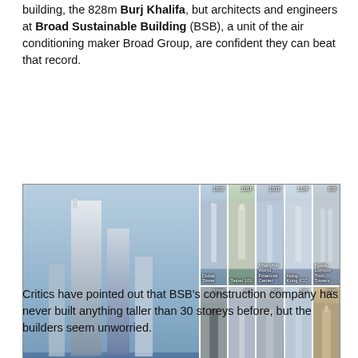building, the 828m Burj Khalifa, but architects and engineers at Broad Sustainable Building (BSB), a unit of the air conditioning maker Broad Group, are confident they can beat that record.
[Figure (photo): Composite image comparing Sky City One skyscraper with other world's tallest buildings including Dubai Tower (160F), Taipei 101 (101F), Shanghai World Financial Center (101F), Hong Kong ICC (118F), Kuala Lumpur Twin Towers (88F), Chicago Sears Tower (108F), Nanjing Zifeng Tower (89F), Shanghai Jinmao Tower (88F), Hong Kong International Finance Centre (88F), New York Empire State Building (102F). Sky City One is labeled 200F.]
Critics have pointed out that BSB's construction company has never built anything taller than 30 storeys before, but the builders seem unworried.